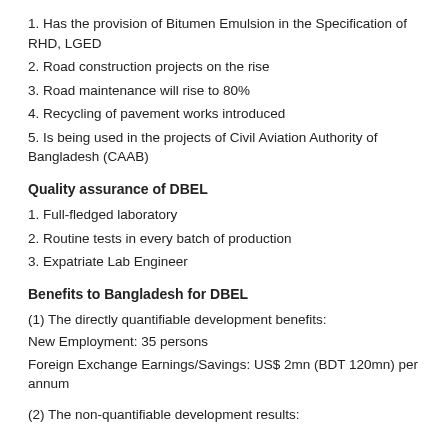1. Has the provision of Bitumen Emulsion in the Specification of RHD, LGED
2. Road construction projects on the rise
3. Road maintenance will rise to 80%
4. Recycling of pavement works introduced
5. Is being used in the projects of Civil Aviation Authority of Bangladesh (CAAB)
Quality assurance of DBEL
1. Full-fledged laboratory
2. Routine tests in every batch of production
3. Expatriate Lab Engineer
Benefits to Bangladesh for DBEL
(1) The directly quantifiable development benefits:
New Employment: 35 persons
Foreign Exchange Earnings/Savings: US$ 2mn (BDT 120mn) per annum
(2) The non-quantifiable development results: